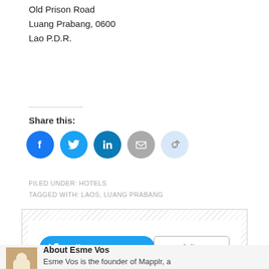Old Prison Road
Luang Prabang, 0600
Lao P.D.R.
Share this:
[Figure (infographic): Social share buttons: Facebook (blue circle), Twitter (light blue circle), LinkedIn (dark teal circle), Email (grey circle), Reddit (light blue circle)]
FILED UNDER: HOTELS
TAGGED WITH: LAOS, LUANG PRABANG
[Figure (infographic): Twitter follow widget with 'Follow @esmevos' button in blue and '611 followers' button in white, surrounded by hatched border]
About Esme Vos
Esme Vos is the founder of Mapplr, a